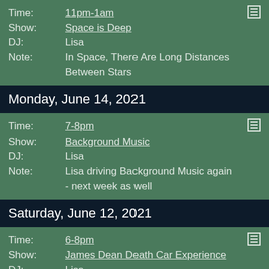Time: 11pm-1am | Show: Space is Deep | DJ: Lisa | Note: In Space, There Are Long Distances Between Stars
Monday, June 14, 2021
Time: 7-8pm | Show: Background Music | DJ: Lisa | Note: Lisa driving Background Music again - next week as well
Saturday, June 12, 2021
Time: 6-8pm | Show: James Dean Death Car Experience | DJ: Lisa | Note: This weather is making my tomatoes unhappy